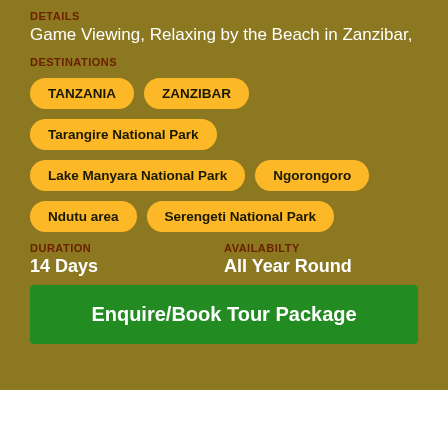DETAILS
Game Viewing, Relaxing by the Beach in Zanzibar,
DESTINATIONS
TANZANIA
ZANZIBAR
Tarangire National Park
Lake Manyara National Park
Ngorongoro
Ndutu area
Serengeti National Park
DURATION
14 Days
AVAILABILTY
All Year Round
Enquire/Book Tour Package